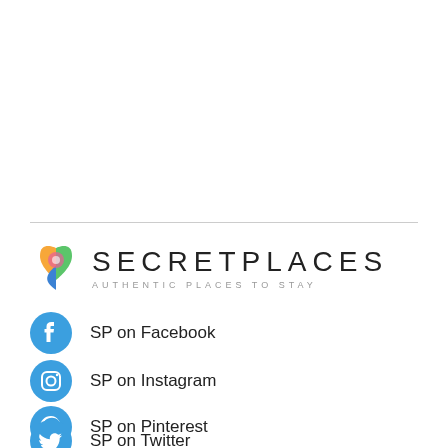[Figure (logo): SecretPlaces logo with colorful heart/map-pin icon and text 'SECRETPLACES AUTHENTIC PLACES TO STAY']
SP on Facebook
SP on Instagram
SP on Pinterest
SP on Twitter